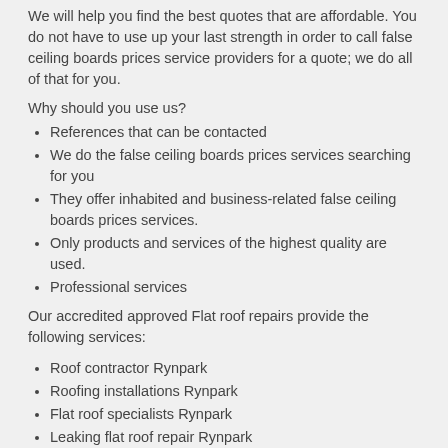We will help you find the best quotes that are affordable. You do not have to use up your last strength in order to call false ceiling boards prices service providers for a quote; we do all of that for you.
Why should you use us?
References that can be contacted
We do the false ceiling boards prices services searching for you
They offer inhabited and business-related false ceiling boards prices services.
Only products and services of the highest quality are used.
Professional services
Our accredited approved Flat roof repairs provide the following services:
Roof contractor Rynpark
Roofing installations Rynpark
Flat roof specialists Rynpark
Leaking flat roof repair Rynpark
Roofing contractor Rynpark
Roofing repairs Rynpark
Roof repair Rynpark
Wood ceiling Rynpark
Roof repairs company Rynpark
Ceiling boards Rynpark
Suspended ceilings prices Rynpark
Roof repairs companies Rynpark